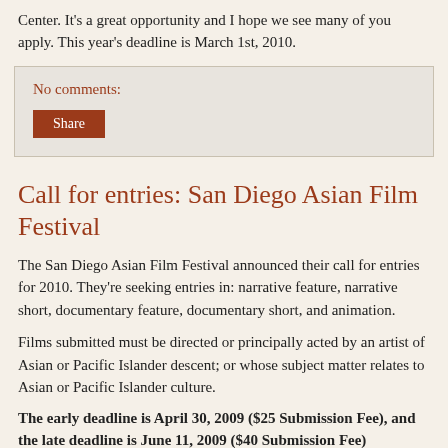Center. It's a great opportunity and I hope we see many of you apply. This year's deadline is March 1st, 2010.
No comments:
Share
Call for entries: San Diego Asian Film Festival
The San Diego Asian Film Festival announced their call for entries for 2010. They're seeking entries in: narrative feature, narrative short, documentary feature, documentary short, and animation.
Films submitted must be directed or principally acted by an artist of Asian or Pacific Islander descent; or whose subject matter relates to Asian or Pacific Islander culture.
The early deadline is April 30, 2009 ($25 Submission Fee), and the late deadline is June 11, 2009 ($40 Submission Fee).